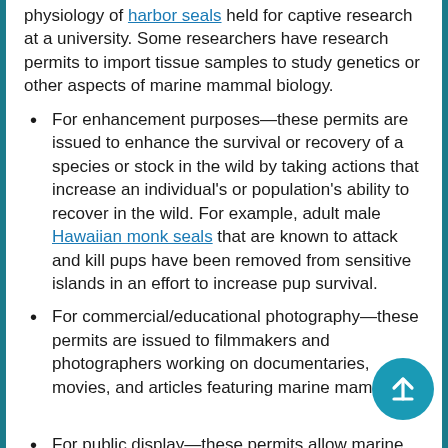physiology of harbor seals held for captive research at a university. Some researchers have research permits to import tissue samples to study genetics or other aspects of marine mammal biology.
For enhancement purposes—these permits are issued to enhance the survival or recovery of a species or stock in the wild by taking actions that increase an individual's or population's ability to recover in the wild. For example, adult male Hawaiian monk seals that are known to attack and kill pups have been removed from sensitive islands in an effort to increase pup survival.
For commercial/educational photography—these permits are issued to filmmakers and photographers working on documentaries, movies, and articles featuring marine mamm…
For public display—these permits allow marine mammals to be imported or captured from the wild…